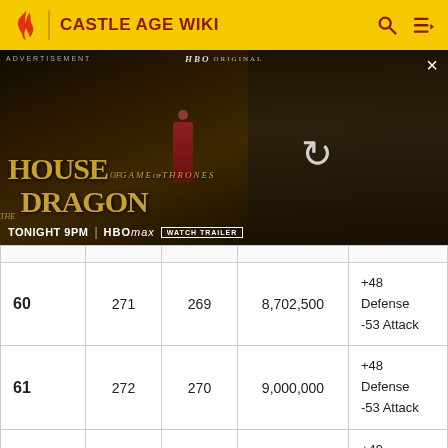CASTLE AGE WIKI
[Figure (photo): HBO Original advertisement for House of the Dragon - Game of Thrones spinoff. Shows a woman in red medieval costume standing before a large dragon. Text: GAME OF THRONES, HOUSE OF THE DRAGON, TONIGHT 9PM, HBO Max, WATCH TRAILER]
|  |  |  |  |  |
| --- | --- | --- | --- | --- |
| 60 | 271 | 269 | 8,702,500 | +48 Defense
-53 Attack |
| 61 | 272 | 270 | 9,000,000 | +48 Defense
-53 Attack |
| 62 | 273 | 271 | 9,302,500 | +49 Defense
-54 Attack |
| 63 | 274 | 272 | 9,610,000 | +49 Defense
-54 Attack |